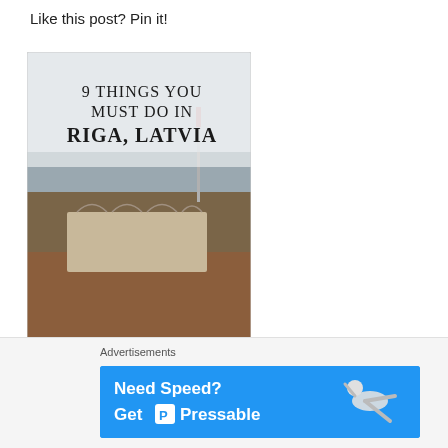Like this post? Pin it!
[Figure (illustration): Pinterest pin card showing aerial view of Riga, Latvia with text '9 THINGS YOU MUST DO IN RIGA, LATVIA' and city skyline photo]
www.wellcaffeinatedtraveller.com
Advertisements
[Figure (infographic): Blue advertisement banner: 'Need Speed? Get P Pressable' with person flying illustration]